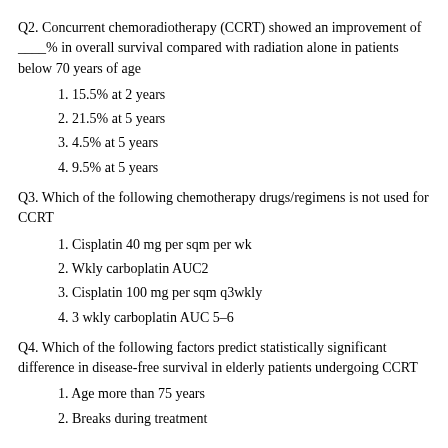Q2. Concurrent chemoradiotherapy (CCRT) showed an improvement of ____% in overall survival compared with radiation alone in patients below 70 years of age
1. 15.5% at 2 years
2. 21.5% at 5 years
3. 4.5% at 5 years
4. 9.5% at 5 years
Q3. Which of the following chemotherapy drugs/regimens is not used for CCRT
1. Cisplatin 40 mg per sqm per wk
2. Wkly carboplatin AUC2
3. Cisplatin 100 mg per sqm q3wkly
4. 3 wkly carboplatin AUC 5–6
Q4. Which of the following factors predict statistically significant difference in disease-free survival in elderly patients undergoing CCRT
1. Age more than 75 years
2. Breaks during treatment